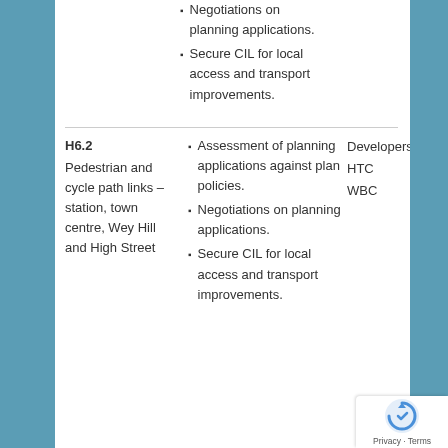Negotiations on planning applications.
Secure CIL for local access and transport improvements.
Assessment of planning applications against plan policies.
Negotiations on planning applications.
Secure CIL for local access and transport improvements.
H6.2
Pedestrian and cycle path links – station, town centre, Wey Hill and High Street
Developers HTC WBC